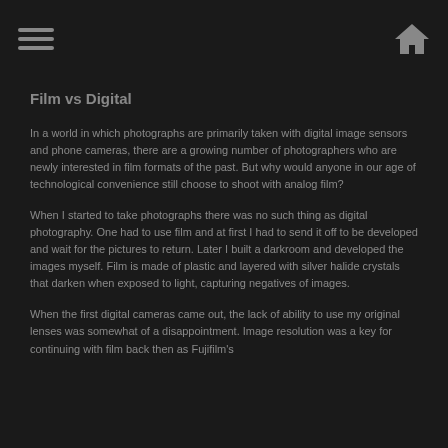[hamburger menu icon] [home icon]
Film vs Digital
In a world in which photographs are primarily taken with digital image sensors and phone cameras, there are a growing number of photographers who are newly interested in film formats of the past. But why would anyone in our age of technological convenience still choose to shoot with analog film?
When I started to take photographs there was no such thing as digital photography. One had to use film and at first I had to send it off to be developed and wait for the pictures to return. Later I built a darkroom and developed the images myself. Film is made of plastic and layered with silver halide crystals that darken when exposed to light, capturing negatives of images.
When the first digital cameras came out, the lack of ability to use my original lenses was somewhat of a disappointment. Image resolution was a key for continuing with film back then as Fujifilm's